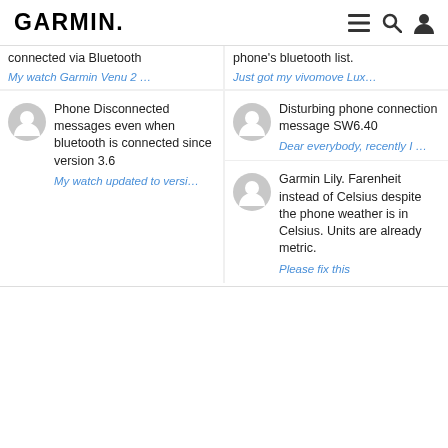GARMIN.
connected via Bluetooth
phone's bluetooth list.
My watch Garmin Venu 2 …
Just got my vivomove Lux…
Phone Disconnected messages even when bluetooth is connected since version 3.6
My watch updated to versi…
Disturbing phone connection message SW6.40
Dear everybody, recently I …
Garmin Lily. Farenheit instead of Celsius despite the phone weather is in Celsius. Units are already metric.
Please fix this